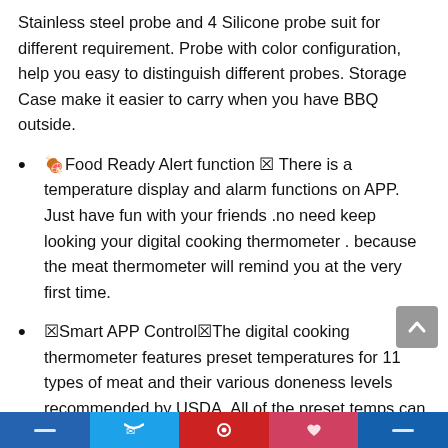Stainless steel probe and 4 Silicone probe suit for different requirement. Probe with color configuration, help you easy to distinguish different probes. Storage Case make it easier to carry when you have BBQ outside.
🍖Food Ready Alert function 🔔 There is a temperature display and alarm functions on APP. Just have fun with your friends .no need keep looking your digital cooking thermometer . because the meat thermometer will remind you at the very first time.
🌡Smart APP Control🌡The digital cooking thermometer features preset temperatures for 11 types of meat and their various doneness levels recommended by USDA. All of the preset temps can be customized to your desired tastes. When